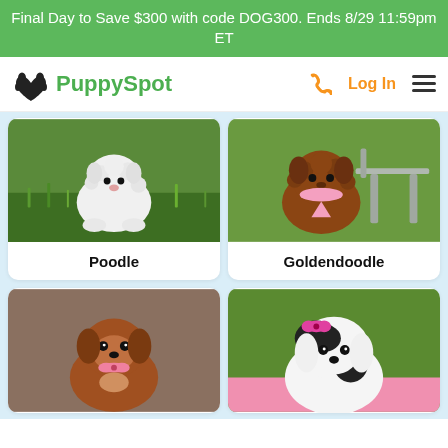Final Day to Save $300 with code DOG300. Ends 8/29 11:59pm ET
[Figure (logo): PuppySpot logo with paw/heart icon and green text, plus phone icon, Log In link, and hamburger menu]
[Figure (photo): White fluffy puppy sitting on green grass - Poodle]
Poodle
[Figure (photo): Brown curly-haired puppy wearing pink bandana on bench - Goldendoodle]
Goldendoodle
[Figure (photo): Brown Cavalier King Charles Spaniel puppy with pink bow]
[Figure (photo): Black and white puppy with pink bow on green background]